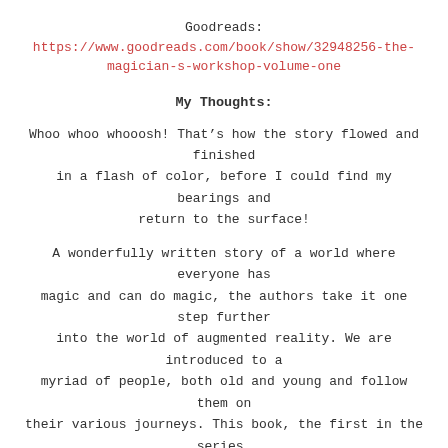Goodreads: https://www.goodreads.com/book/show/32948256-the-magician-s-workshop-volume-one
My Thoughts:
Whoo whoo whooosh! That’s how the story flowed and finished in a flash of color, before I could find my bearings and return to the surface!
A wonderfully written story of a world where everyone has magic and can do magic, the authors take it one step further into the world of augmented reality. We are introduced to a myriad of people, both old and young and follow them on their various journeys. This book, the first in the series, is mainly an introduction. We are given a glimpse into the islands of O’Ceea and it’s inhabitants, their lifestyles and personalities.
The story is well written and though initially it may seem a